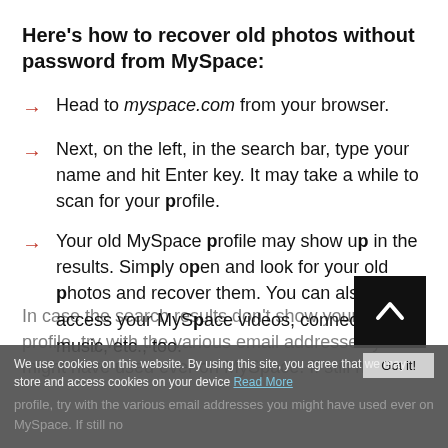Here's how to recover old photos without password from MySpace:
Head to myspace.com from your browser.
Next, on the left, in the search bar, type your name and hit Enter key. It may take a while to scan for your profile.
Your old MySpace profile may show up in the results. Simply open and look for your old photos and recover them. You can also access your MySpace videos, connections, music, etc., too.
In case the search results don't show your old profile, try with the various email addresses you might have used ever on MySpace. If still no
We use cookies on this website. By using this site, you agree that we may store and access cookies on your device Read More  Got it!